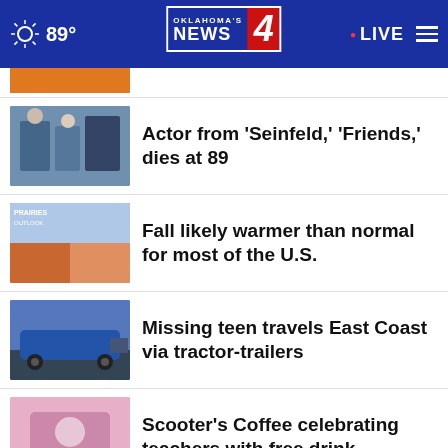89° | Oklahoma's News 4 | LIVE
(partial item, cut off at top)
Actor from 'Seinfeld,' 'Friends,' dies at 89
Fall likely warmer than normal for most of the U.S.
Missing teen travels East Coast via tractor-trailers
Scooter's Coffee celebrating teachers with free drink
Donation expands STEM programming for Boys & Girls …
Up dates set (partial, cut off at bottom)
Nota
Book A Demo Today
OPEN